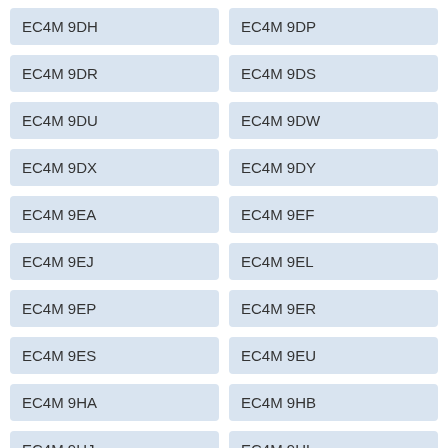EC4M 9DH
EC4M 9DP
EC4M 9DR
EC4M 9DS
EC4M 9DU
EC4M 9DW
EC4M 9DX
EC4M 9DY
EC4M 9EA
EC4M 9EF
EC4M 9EJ
EC4M 9EL
EC4M 9EP
EC4M 9ER
EC4M 9ES
EC4M 9EU
EC4M 9HA
EC4M 9HB
EC4M 9HJ
EC4M 9HL